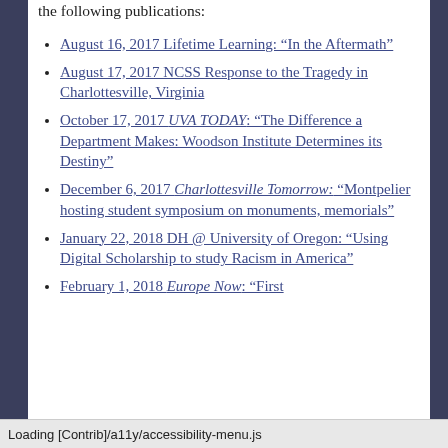the following publications:
August 16, 2017 Lifetime Learning: “In the Aftermath”
August 17, 2017 NCSS Response to the Tragedy in Charlottesville, Virginia
October 17, 2017 UVA TODAY: “The Difference a Department Makes: Woodson Institute Determines its Destiny”
December 6, 2017 Charlottesville Tomorrow: “Montpelier hosting student symposium on monuments, memorials”
January 22, 2018 DH @ University of Oregon: “Using Digital Scholarship to study Racism in America”
February 1, 2018 Europe Now: “First
Loading [Contrib]/a11y/accessibility-menu.js